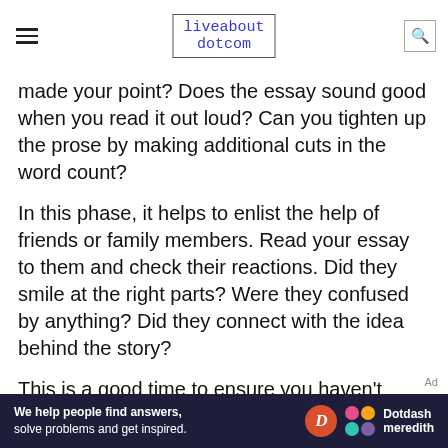liveabout dotcom
made your point? Does the essay sound good when you read it out loud? Can you tighten up the prose by making additional cuts in the word count?
In this phase, it helps to enlist the help of friends or family members. Read your essay to them and check their reactions. Did they smile at the right parts? Were they confused by anything? Did they connect with the idea behind the story?
This is a good time to ensure you haven't made any grammar or spelling mistakes. A grammar checker like Grammarly is very helpful for catching those
[Figure (infographic): Dotdash Meredith advertisement banner with dark background. Text: 'We help people find answers, solve problems and get inspired.' with Dotdash Meredith logo.]